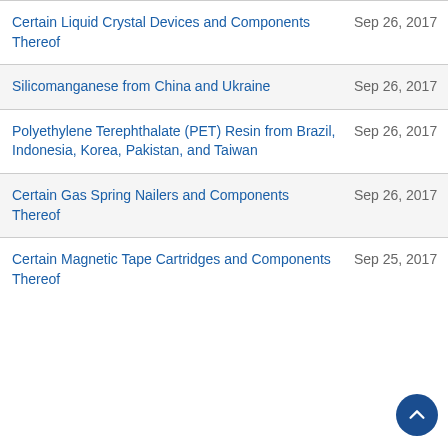| Case Title | Date |
| --- | --- |
| Certain Liquid Crystal Devices and Components Thereof | Sep 26, 2017 |
| Silicomanganese from China and Ukraine | Sep 26, 2017 |
| Polyethylene Terephthalate (PET) Resin from Brazil, Indonesia, Korea, Pakistan, and Taiwan | Sep 26, 2017 |
| Certain Gas Spring Nailers and Components Thereof | Sep 26, 2017 |
| Certain Magnetic Tape Cartridges and Components Thereof | Sep 25, 2017 |